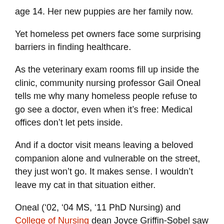age 14. Her new puppies are her family now.
Yet homeless pet owners face some surprising barriers in finding healthcare.
As the veterinary exam rooms fill up inside the clinic, community nursing professor Gail Oneal tells me why many homeless people refuse to go see a doctor, even when it’s free: Medical offices don’t let pets inside.
And if a doctor visit means leaving a beloved companion alone and vulnerable on the street, they just won’t go. It makes sense. I wouldn’t leave my cat in that situation either.
Oneal (’02, ’04 MS, ’11 PhD Nursing) and College of Nursing dean Joyce Griffin-Sobel saw that dilemma firsthand at homeless outreach clinics. About two